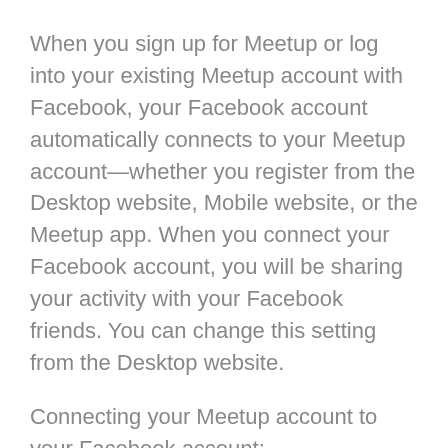When you sign up for Meetup or log into your existing Meetup account with Facebook, your Facebook account automatically connects to your Meetup account—whether you register from the Desktop website, Mobile website, or the Meetup app. When you connect your Facebook account, you will be sharing your activity with your Facebook friends. You can change this setting from the Desktop website.
Connecting your Meetup account to your Facebook account:
- Lets you log into Meetup through Facebook
- Makes it easy to share events